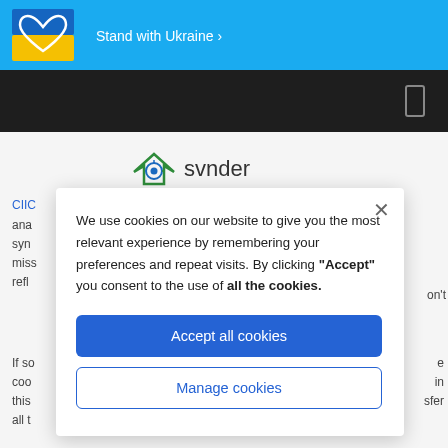[Figure (screenshot): Ukraine solidarity banner with blue/yellow heart icon and 'Stand with Ukraine >' text in white on blue background]
[Figure (screenshot): Dark navigation bar with a phone/mobile icon on the right]
[Figure (logo): svnder logo — house/circuit icon in green and blue tones next to 'svnder' wordmark]
CIIC... ana... syn... miss... refl... If sc... coo... this... all t...
[Figure (screenshot): Cookie consent modal dialog with close X button, cookie policy text, Accept all cookies button (blue), and Manage cookies button (outlined)]
We use cookies on our website to give you the most relevant experience by remembering your preferences and repeat visits. By clicking "Accept" you consent to the use of all the cookies.
Accept all cookies
Manage cookies